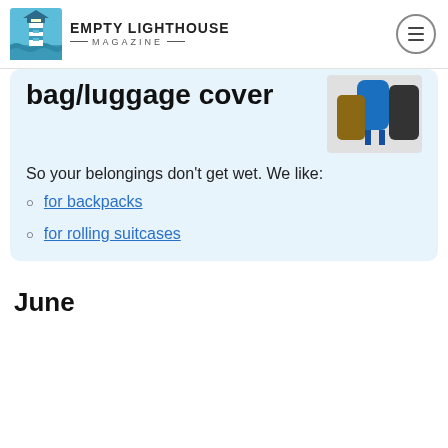EMPTY LIGHTHOUSE MAGAZINE
bag/luggage cover
So your belongings don't get wet. We like:
for backpacks
for rolling suitcases
June